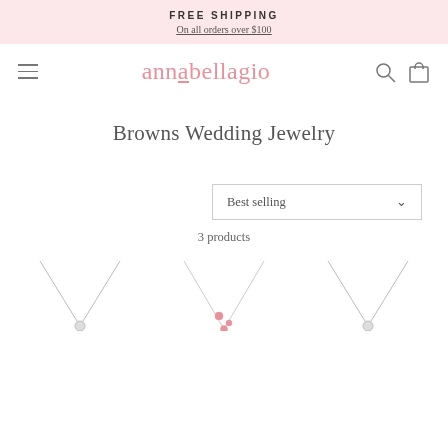FREE SHIPPING
On all orders over $100
[Figure (screenshot): Annabellagio website navigation bar with hamburger menu, pink cursive logo 'annabellagio', search icon, and bag icon]
Browns Wedding Jewelry
Best selling
3 products
[Figure (photo): Partial view of three jewelry necklace product images at the bottom of the page]